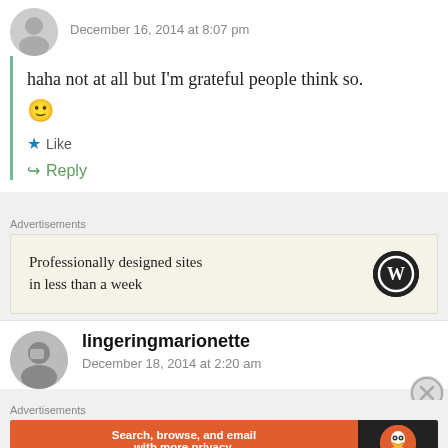December 16, 2014 at 8:07 pm
haha not at all but I'm grateful people think so. 🙂
Like
Reply
Advertisements
[Figure (other): WordPress advertisement banner: 'Professionally designed sites in less than a week' with WordPress logo]
REPORT THIS AD
lingeringmarionette
December 18, 2014 at 2:20 am
Advertisements
[Figure (other): DuckDuckGo advertisement: 'Search, browse, and email with more privacy. All in One Free App' with DuckDuckGo logo]